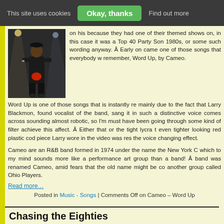This site uses cookies  Okay, thanks  Find out more
[Figure (photo): A performer on stage wearing all black outfit with a distinctive red codpiece, performing under stage lighting]
on his because they had one of their themed shows on, in this case it was a Top 40 Party Songs of the 1980s, or some such wording anyway. Â Early on it came one of those songs that everybody will remember, Word Up, by Cameo.
Word Up is one of those songs that is instantly recognisable mainly due to the fact that Larry Blackmon, founder and vocalist of the band, sang it in such a distinctive way. His voice comes across sounding almost robotic, so I'm thinking he must have been going through some kind of filter or effect to achieve this affect. Â Either that or the tight lycra top and even tighter looking red plastic cod piece Larry wore in the video was responsible for the voice changing effect.
Cameo are an R&B band formed in 1974 under the name the New York City Players, which to my mind sounds more like a performance art group than a band! Â Eventually the band was renamed Cameo, amid fears that the old name might be confused with another group called Ohio Players.
Read more…
Posted in Music - Songs | Comments Off on Cameo – Word Up
Chasing the Eighties